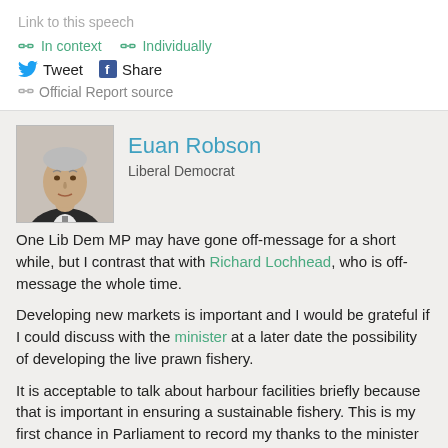Link to this speech
🔗 In context  🔗 Individually
🐦 Tweet  📘 Share
🔗 Official Report source
[Figure (photo): Headshot of Euan Robson, a middle-aged man in a suit]
Euan Robson
Liberal Democrat
One Lib Dem MP may have gone off-message for a short while, but I contrast that with Richard Lochhead, who is off-message the whole time.
Developing new markets is important and I would be grateful if I could discuss with the minister at a later date the possibility of developing the live prawn fishery.
It is acceptable to talk about harbour facilities briefly because that is important in ensuring a sustainable fishery. This is my first chance in Parliament to record my thanks to the minister for his grant to Eyemouth Harbour Trust some months ago, which allowed the trust to pay off a substantial debt and which was much appreciated. However, there are